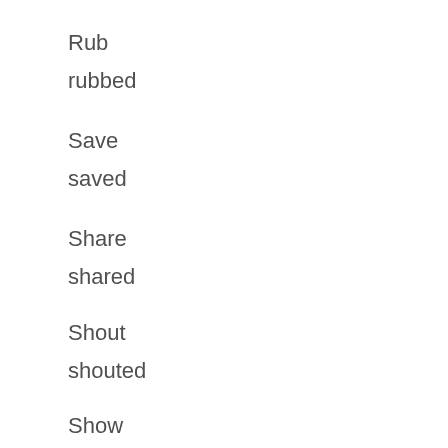Rub
rubbed    rubbed
Save
saved    saved
Share
shared    shared
Shout
shouted    shouted
Show
showed    showed
Study